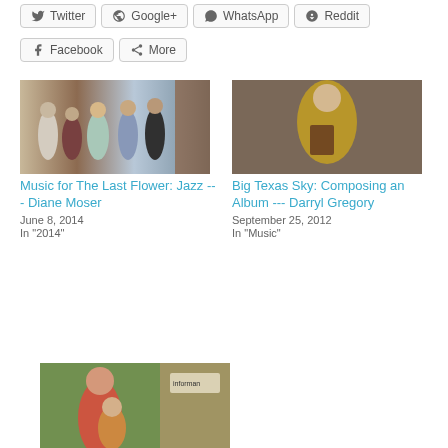Twitter
Google+
WhatsApp
Reddit
Facebook
More
[Figure (photo): Group of five people standing in front of a barn door]
Music for The Last Flower: Jazz --- Diane Moser
June 8, 2014
In "2014"
[Figure (photo): Person in gold jacket holding a book, sitting on brick steps]
Big Texas Sky: Composing an Album --- Darryl Gregory
September 25, 2012
In "Music"
[Figure (photo): Woman holding a child at an outdoor market]
La Danse from Karibu: Jazz Piano --- Elizabeth Woodbury Kasius & Heard
May 12, 2012